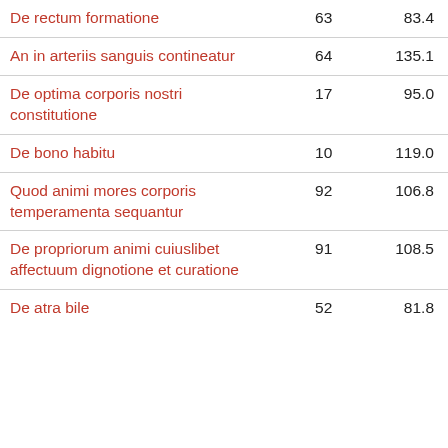| De rectum formatione | 63 | 83.4 |
| An in arteriis sanguis contineatur | 64 | 135.1 |
| De optima corporis nostri constitutione | 17 | 95.0 |
| De bono habitu | 10 | 119.0 |
| Quod animi mores corporis temperamenta sequantur | 92 | 106.8 |
| De propriorum animi cuiuslibet affectuum dignotione et curatione | 91 | 108.5 |
| De atra bile | 52 | 81.8 |